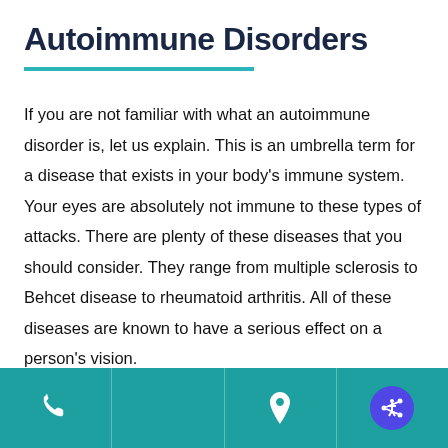Autoimmune Disorders
If you are not familiar with what an autoimmune disorder is, let us explain. This is an umbrella term for a disease that exists in your body's immune system. Your eyes are absolutely not immune to these types of attacks. There are plenty of these diseases that you should consider. They range from multiple sclerosis to Behcet disease to rheumatoid arthritis. All of these diseases are known to have a serious effect on a person's vision.
Phone | Location | Share/Accessibility icons